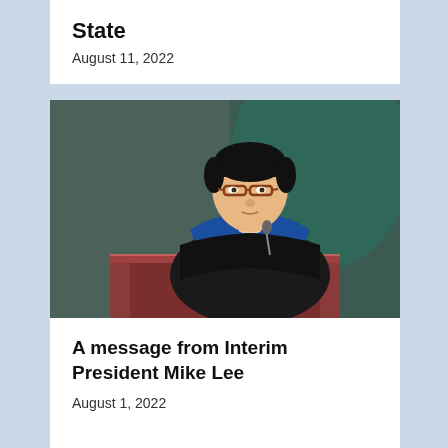State
August 11, 2022
[Figure (photo): A man wearing academic regalia (blue graduation hood and black gown) speaks at a wooden podium with a microphone. The background shows a dark teal banner or curtain.]
A message from Interim President Mike Lee
August 1, 2022